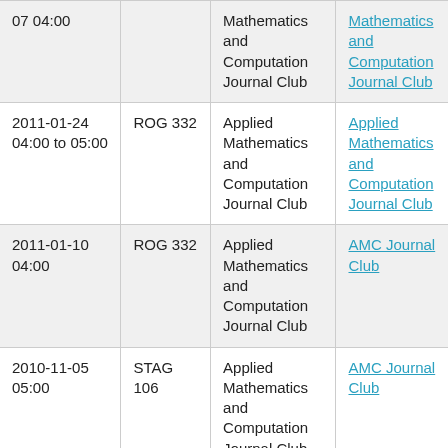| Date/Time | Location | Series | Event |
| --- | --- | --- | --- |
| 07 04:00 |  | Mathematics and Computation Journal Club | Mathematics and Computation Journal Club |
| 2011-01-24 04:00 to 05:00 | ROG 332 | Applied Mathematics and Computation Journal Club | Applied Mathematics and Computation Journal Club |
| 2011-01-10 04:00 | ROG 332 | Applied Mathematics and Computation Journal Club | AMC Journal Club |
| 2010-11-05 05:00 | STAG 106 | Applied Mathematics and Computation Journal Club | AMC Journal Club |